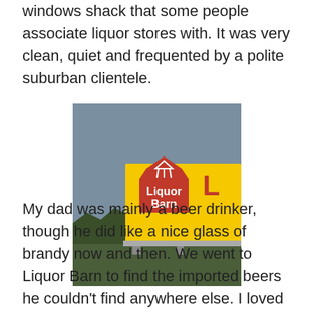windows shack that some people associate liquor stores with. It was very clean, quiet and frequented by a polite suburban clientele.
[Figure (photo): Photograph of a Liquor Barn billboard sign. The sign has a yellow background with a red barn-shaped logo and white text reading 'Liquor Barn'. The billboard is photographed against a backdrop of wooded hills.]
My dad was mainly a beer drinker, though he did like a nice glass of brandy now and then. We went to Liquor Barn to find the imported beers he couldn't find anywhere else. I loved looking at all of the colorfully-labeled bottles, and the way the sun would glisten off the clear bottles filled with gold, amber, emerald and sapphire colored